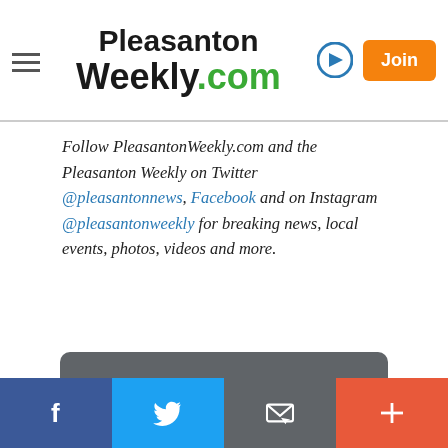Pleasanton Weekly.com — with hamburger menu, login icon, and Join button
Follow PleasantonWeekly.com and the Pleasanton Weekly on Twitter @pleasantonnews, Facebook and on Instagram @pleasantonweekly for breaking news, local events, photos, videos and more.
Stay informed on important education news. Sign up for our FREE daily Express newsletter. [Sign up button]
Facebook | Twitter | Email | More social sharing buttons